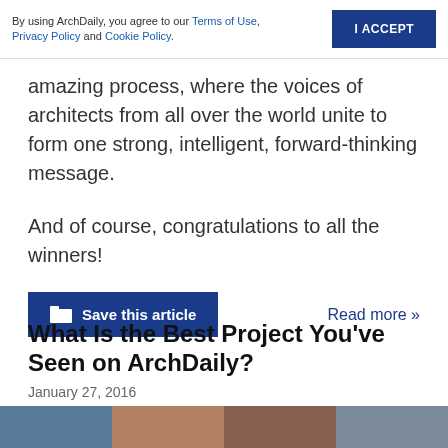By using ArchDaily, you agree to our Terms of Use, Privacy Policy and Cookie Policy.
amazing process, where the voices of architects from all over the world unite to form one strong, intelligent, forward-thinking message.
And of course, congratulations to all the winners!
Save this article
Read more »
What Is the Best Project You've Seen on ArchDaily?
January 27, 2016
[Figure (photo): Bottom image strip showing architectural photos in muted colors]